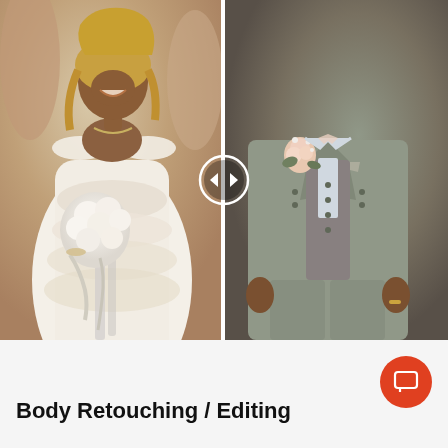[Figure (photo): A before/after or side-by-side split photo comparison showing a bride in a white lace off-shoulder wedding dress holding a white bouquet laughing joyfully (left side) and a groom in a grey suit with a peach/blush boutonniere (right side), separated by a vertical divider line with an arrow circle icon in the center.]
Body Retouching / Editing